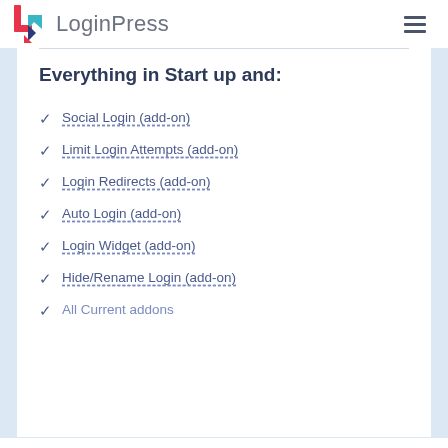LoginPress
Everything in Start up and:
Social Login (add-on)
Limit Login Attempts (add-on)
Login Redirects (add-on)
Auto Login (add-on)
Login Widget (add-on)
Hide/Rename Login (add-on)
All Current addons